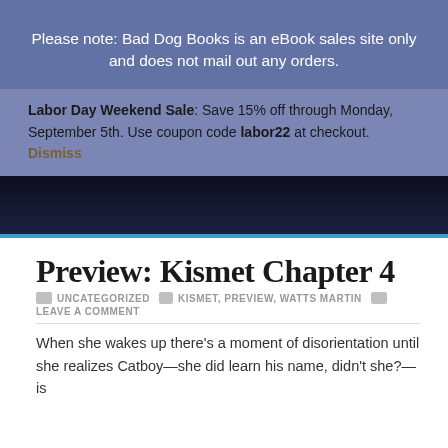Please note: Bad Dog Books is an eBook sales site only and does not mail out any orders.
Labor Day Weekend Sale: Save 15% off through Monday, September 5th. Use coupon code labor22 at checkout. Dismiss
[Figure (photo): Dark book cover image partially visible]
Preview: Kismet Chapter 4
UNCATEGORIZED   KISMET, PREVIEW, WATTS MARTIN   LEAVE A COMMENT
When she wakes up there’s a moment of disorientation until she realizes Catboy—she did learn his name, didn’t she?—is